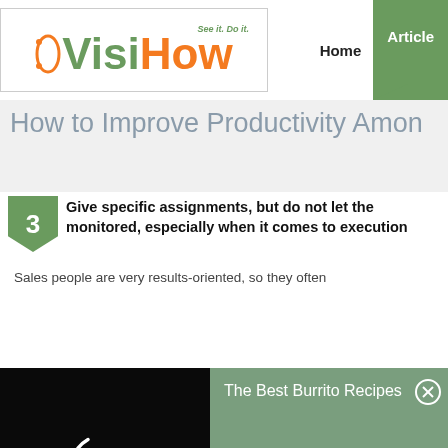[Figure (logo): VisiHow logo with tagline 'See it. Do it.' in green and orange]
Home  Articles
How to Improve Productivity Amon
3  Give specific assignments, but do not let the monitored, especially when it comes to execution
Sales people are very results-oriented, so they often
[Figure (screenshot): Video loading spinner on black background with green ad panel showing 'The Best Burrito Recipes' and close button]
in each step, and look at variances in terms of these